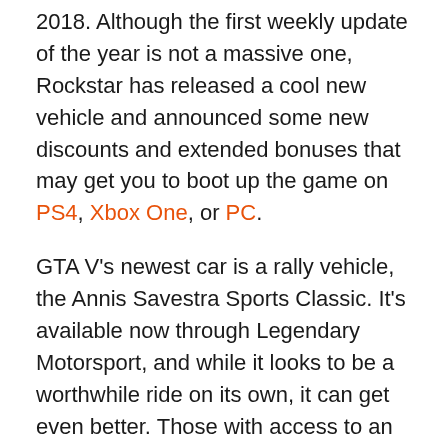2018. Although the first weekly update of the year is not a massive one, Rockstar has released a cool new vehicle and announced some new discounts and extended bonuses that may get you to boot up the game on PS4, Xbox One, or PC.
GTA V's newest car is a rally vehicle, the Annis Savestra Sports Classic. It's available now through Legendary Motorsport, and while it looks to be a worthwhile ride on its own, it can get even better. Those with access to an Avenger or Mobile Operations Center have some optional upgrades for the Savestra, including mounted machine guns.
If you don't yet own a MOC, you can pick up the cab for 50% off its regular price from now through